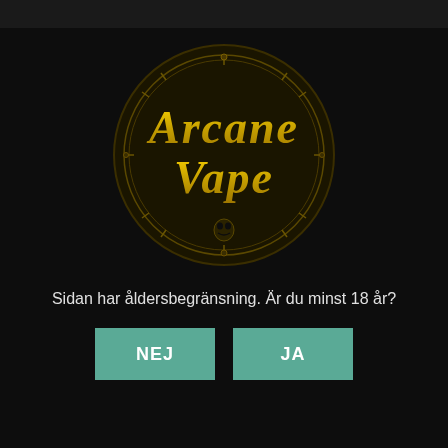[Figure (logo): Arcane Vape logo: circular dark medallion with ornate gold text 'Arcane Vape' in decorative fantasy-style lettering on a black background]
Sidan har åldersbegränsning. Är du minst 18 år?
NEJ
JA